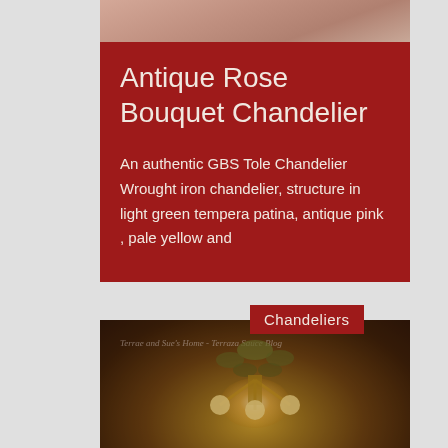[Figure (photo): Top cropped portion of a chandelier or floral decoration photo, warm pink/beige tones]
Antique Rose Bouquet Chandelier
An authentic GBS Tole Chandelier Wrought iron chandelier, structure in light green tempera patina, antique pink , pale yellow and
Chandeliers
[Figure (photo): Photo of an illuminated chandelier with green leaf decorations and lit candle bulbs, warm golden glow, in front of a brick wall background. Watermark text: Terrae and Sue's Home - Terraza Sauce Blog]